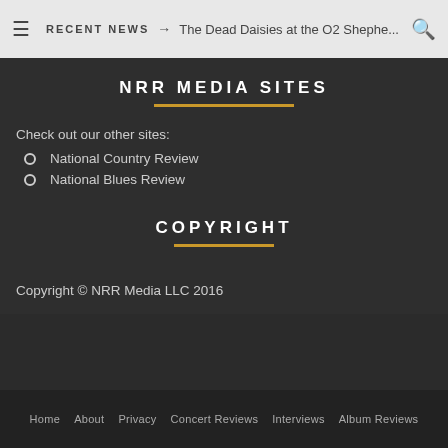≡  RECENT NEWS → The Dead Daisies at the O2 Shephe... 🔍
NRR MEDIA SITES
Check out our other sites:
National Country Review
National Blues Review
COPYRIGHT
Copyright © NRR Media LLC 2016
Home  About  Privacy  Concert Reviews  Interviews  Album Reviews